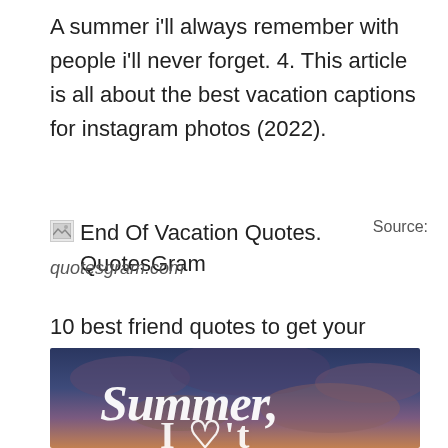A summer i'll always remember with people i'll never forget. 4. This article is all about the best vacation captions for instagram photos (2022).
[Figure (illustration): Broken image placeholder followed by caption text 'End Of Vacation Quotes. QuotesGram' with 'Source:' label]
quotesgram.com
10 best friend quotes to get your squad pumped up for summer summer quotes beach quotes memories quotes. Summer is gonna end but the memories will last forever.
[Figure (photo): Photo with dark blue/purple cloudy sky background with decorative white text reading 'Summer,' and partially visible text below it]